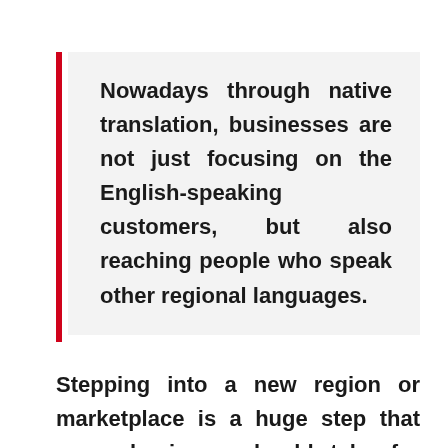Nowadays through native translation, businesses are not just focusing on the English-speaking customers, but also reaching people who speak other regional languages.
Stepping into a new region or marketplace is a huge step that every business should take for growth. Make sure you do well in a new geographical location and choose human document